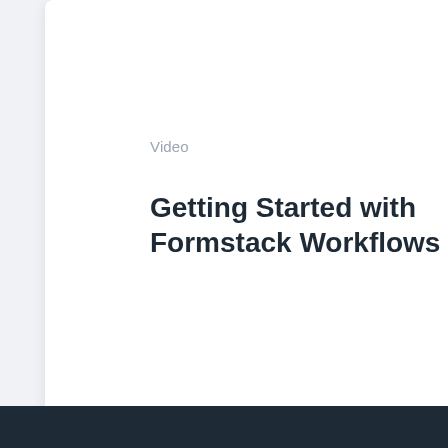Video
Getting Started with Formstack Workflows
Watch Now
Blog
Using Power...
Read